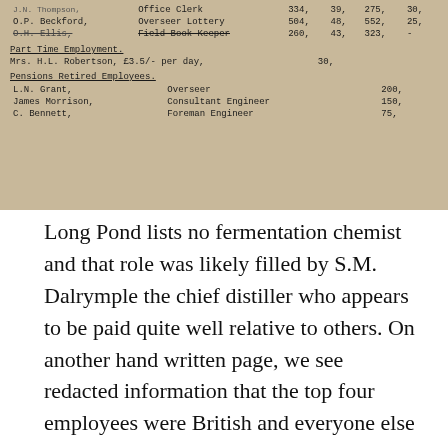[Figure (other): Scanned handwritten/typewritten document page showing employee salary records. Rows include: J.N. Thompson Office Clerk 334, 39, 275, 30; O.P. Beckford Overseer Lottery 504, 48, 552, 25; [redacted/struck-through name] Field Book Keeper 260, 43, 323, -; Part Time Employment section: Mrs. H.L. Robertson, £3.5/- per day, 30; Pensions Retired Employees section: L.N. Grant Overseer 200; James Morrison Consultant Engineer 150; C. Bennett Foreman Engineer 75.]
Long Pond lists no fermentation chemist and that role was likely filled by S.M. Dalrymple the chief distiller who appears to be paid quite well relative to others. On another hand written page, we see redacted information that the top four employees were British and everyone else was Jamaican. Old colonial labour structures were still in place.